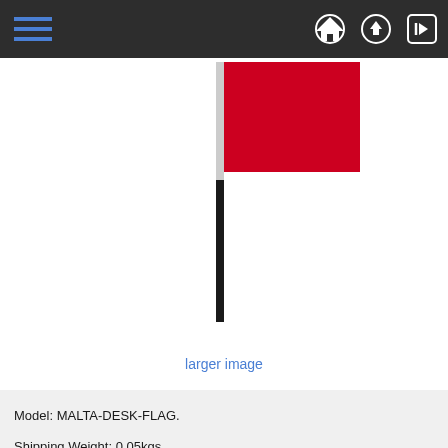Navigation bar with menu lines and icons (home, upload, login)
[Figure (illustration): Malta desk flag on a pole. The pole has a white upper section and black lower section. A red rectangular flag is attached to the upper part of the pole on the right side.]
larger image
Model: MALTA-DESK-FLAG.
Shipping Weight: 0.05kgs.
Items in Stock : 0.
Flag Size: 100mm x 150mm.